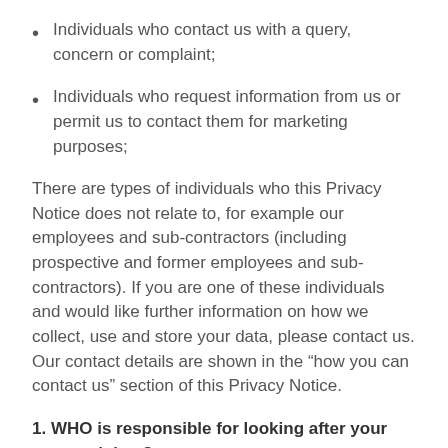Individuals who contact us with a query, concern or complaint;
Individuals who request information from us or permit us to contact them for marketing purposes;
There are types of individuals who this Privacy Notice does not relate to, for example our employees and sub-contractors (including prospective and former employees and sub-contractors). If you are one of these individuals and would like further information on how we collect, use and store your data, please contact us. Our contact details are shown in the “how you can contact us” section of this Privacy Notice.
1. WHO is responsible for looking after your personal data?